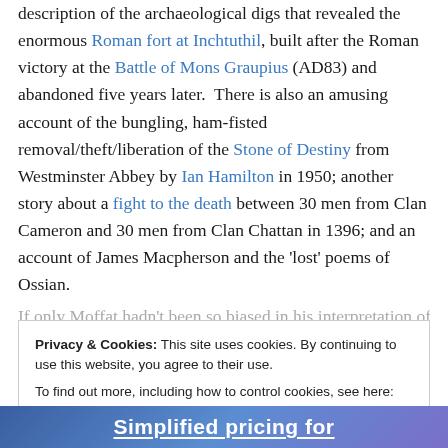description of the archaeological digs that revealed the enormous Roman fort at Inchtuthil, built after the Roman victory at the Battle of Mons Graupius (AD83) and abandoned five years later.  There is also an amusing account of the bungling, ham-fisted removal/theft/liberation of the Stone of Destiny from Westminster Abbey by Ian Hamilton in 1950; another story about a fight to the death between 30 men from Clan Cameron and 30 men from Clan Chattan in 1396; and an account of James Macpherson and the 'lost' poems of Ossian.
If only Moffat hadn't been so biased in his interpretation of
Privacy & Cookies: This site uses cookies. By continuing to use this website, you agree to their use.
To find out more, including how to control cookies, see here: Cookie Policy
Close and accept
Simplified pricing for